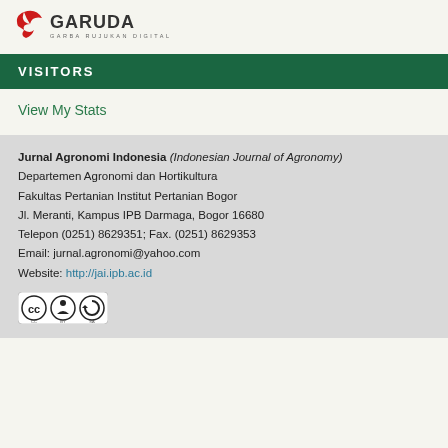[Figure (logo): Garuda (Garba Rujukan Digital) logo with red bird icon and text]
VISITORS
View My Stats
Jurnal Agronomi Indonesia (Indonesian Journal of Agronomy)
Departemen Agronomi dan Hortikultura
Fakultas Pertanian Institut Pertanian Bogor
Jl. Meranti, Kampus IPB Darmaga, Bogor 16680
Telepon (0251) 8629351; Fax. (0251) 8629353
Email: jurnal.agronomi@yahoo.com
Website: http://jai.ipb.ac.id
[Figure (logo): Creative Commons BY-SA license badge]